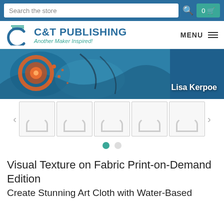Search the store | 0 cart
[Figure (logo): C&T Publishing logo with tagline 'Another Maker Inspired!' and menu button]
[Figure (photo): Book cover banner showing art cloth with orange circular motif on blue background, with author name Lisa Kerpoe]
[Figure (other): Row of 5 thumbnail images with loading spinners, with left and right navigation arrows]
[Figure (other): Carousel pagination: filled teal dot and empty grey dot]
Visual Texture on Fabric Print-on-Demand Edition
Create Stunning Art Cloth with Water-Based